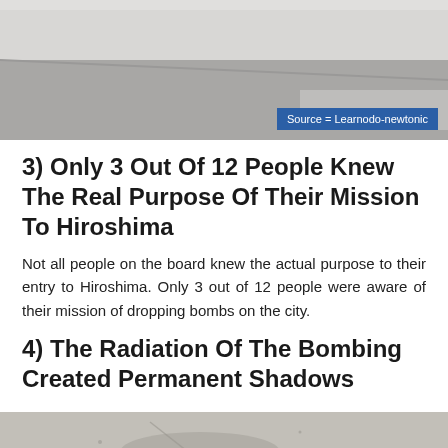[Figure (photo): Black and white photo showing an interior surface, partially cropped at top of page]
Source = Learnodo-newtonic
3) Only 3 Out Of 12 People Knew The Real Purpose Of Their Mission To Hiroshima
Not all people on the board knew the actual purpose to their entry to Hiroshima. Only 3 out of 12 people were aware of their mission of dropping bombs on the city.
4) The Radiation Of The Bombing Created Permanent Shadows
[Figure (photo): Photo of a concrete surface showing a shadow impression, partially cropped at bottom of page]